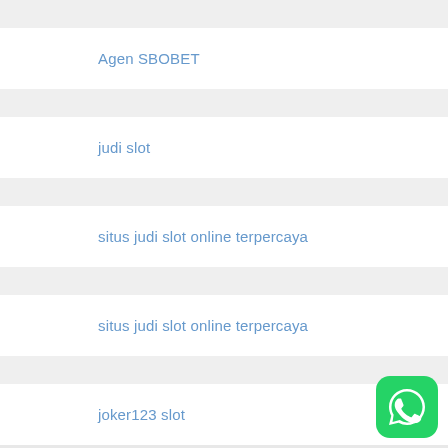Agen SBOBET
judi slot
situs judi slot online terpercaya
situs judi slot online terpercaya
joker123 slot
[Figure (logo): WhatsApp green rounded square button icon]